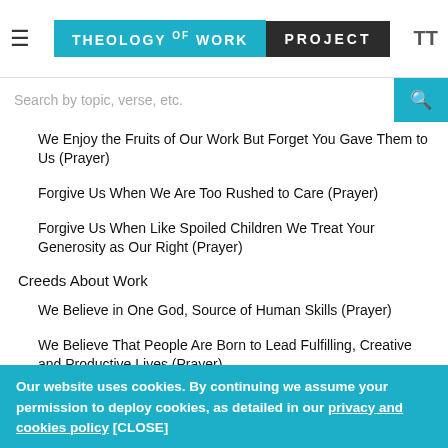Theology of Work Project
Search by topic, verse, etc.
We Enjoy the Fruits of Our Work But Forget You Gave Them to Us (Prayer)
Forgive Us When We Are Too Rushed to Care (Prayer)
Forgive Us When Like Spoiled Children We Treat Your Generosity as Our Right (Prayer)
Creeds About Work
We Believe in One God, Source of Human Skills (Prayer)
We Believe That People Are Born to Lead Fulfilling, Creative and Productive Lives (Prayer)
I Believe in God Who Helps Us Through the Tension and Uncertainty of Daily Work (Prayer)
We Believe in a Loving God Whose Work Sustains Our Lives (Prayer)
Our website uses cookies. By continuing we assume your permission to deploy cookies, as detailed in our privacy and cookies policy [CLOSE]